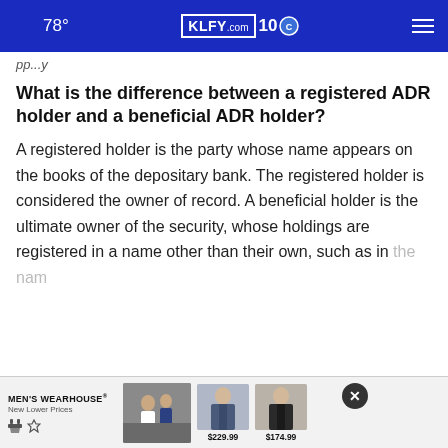78° KLFY.com 10
pp...y
What is the difference between a registered ADR holder and a beneficial ADR holder?
A registered holder is the party whose name appears on the books of the depositary bank. The registered holder is considered the owner of record. A beneficial holder is the ultimate owner of the security, whose holdings are registered in a name other than their own, such as in the name...
[Figure (screenshot): Men's Wearhouse advertisement banner with logo, wedding photo, and suits priced at $229.99 and $174.99]